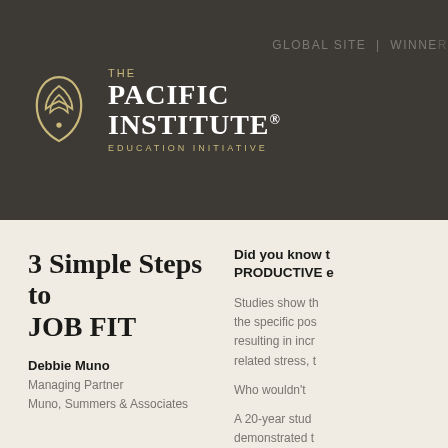THE PACIFIC INSTITUTE® EDUCATION INITIATIVE | GLOBAL SITE | WINNER
3 Simple Steps to JOB FIT
Debbie Muno
Managing Partner
Muno, Summers & Associates
Did you know that PRODUCTIVE employees
Studies show that the specific position resulting in increased related stress, t
Who wouldn't
A 20-year study demonstrated that to (or fit) their job found that when categories, em